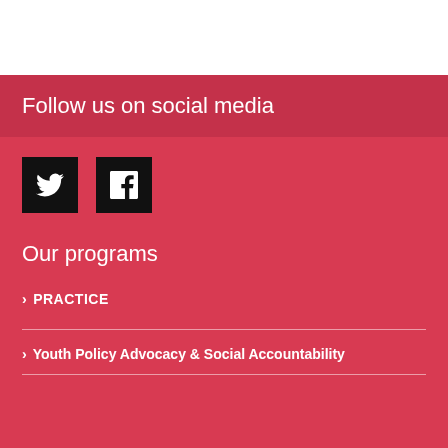Follow us on social media
[Figure (illustration): Twitter bird icon (white on black square) and Facebook 'f' icon (white on black square)]
Our programs
> PRACTICE
> Youth Policy Advocacy & Social Accountability